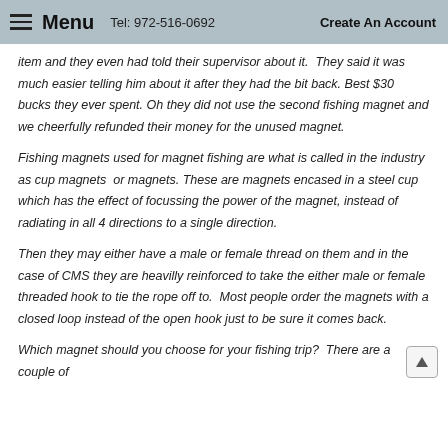Menu  Tel: 972-516-0692  Create An Account
item and they even had told their supervisor about it.  They said it was much easier telling him about it after they had the bit back. Best $30 bucks they ever spent. Oh they did not use the second fishing magnet and we cheerfully refunded their money for the unused magnet.
Fishing magnets used for magnet fishing are what is called in the industry as cup magnets  or magnets. These are magnets encased in a steel cup which has the effect of focussing the power of the magnet, instead of radiating in all 4 directions to a single direction.
Then they may either have a male or female thread on them and in the case of CMS they are heavilly reinforced to take the either male or female threaded hook to tie the rope off to.  Most people order the magnets with a closed loop instead of the open hook just to be sure it comes back.
Which magnet should you choose for your fishing trip?  There are a couple of